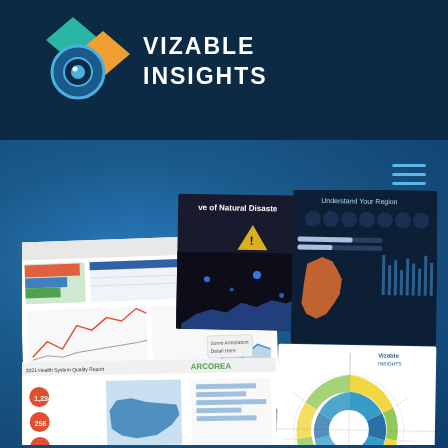[Figure (logo): Vizable Insights logo with geometric diamond and circle shapes in teal, orange, and blue on dark navy header]
VIZABLE INSIGHTS
[Figure (screenshot): Collection of 5 data visualization dashboard screenshots arranged on blue background: analytics dashboards, natural disasters infographic, region understanding tool, ARCOREA report, and radial chart]
[Figure (infographic): Hamburger menu icon in light blue]